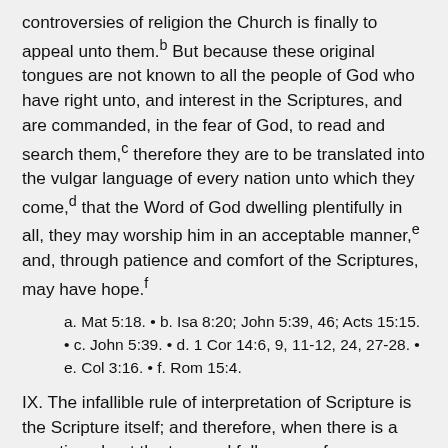controversies of religion the Church is finally to appeal unto them.b But because these original tongues are not known to all the people of God who have right unto, and interest in the Scriptures, and are commanded, in the fear of God, to read and search them,c therefore they are to be translated into the vulgar language of every nation unto which they come,d that the Word of God dwelling plentifully in all, they may worship him in an acceptable manner,e and, through patience and comfort of the Scriptures, may have hope.f
a. Mat 5:18. • b. Isa 8:20; John 5:39, 46; Acts 15:15. • c. John 5:39. • d. 1 Cor 14:6, 9, 11-12, 24, 27-28. • e. Col 3:16. • f. Rom 15:4.
IX. The infallible rule of interpretation of Scripture is the Scripture itself; and therefore, when there is a question about the true and full sense of any scripture (which is not manifold, but one), it must be searched and known by other places that speak more clearly.a